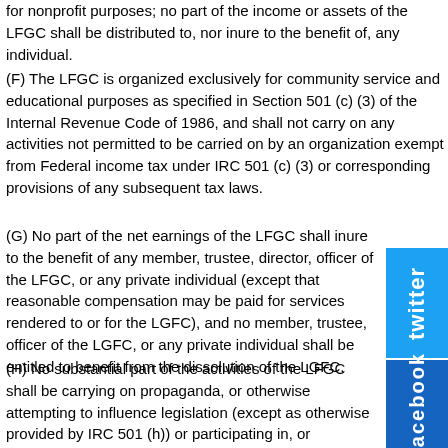for nonprofit purposes; no part of the income or assets of the LFGC shall be distributed to, nor inure to the benefit of, any individual.
(F) The LFGC is organized exclusively for community service and educational purposes as specified in Section 501 (c) (3) of the Internal Revenue Code of 1986, and shall not carry on any activities not permitted to be carried on by an organization exempt from Federal income tax under IRC 501 (c) (3) or corresponding provisions of any subsequent tax laws.
(G) No part of the net earnings of the LFGC shall inure to the benefit of any member, trustee, director, officer of the LFGC, or any private individual (except that reasonable compensation may be paid for services rendered to or for the LGFC), and no member, trustee, officer of the LGFC, or any private individual shall be entitled to benefit from the dissolution of the LGFC.
(H) No substantial part of the activities of the LFGC shall be carrying on propaganda, or otherwise attempting to influence legislation (except as otherwise provided by IRC 501 (h)) or participating in, or intervening in (including the publication or distribution of statements) any political campaign on behalf of or in opposition to any
[Figure (logo): Twitter social media badge - blue vertical tab with 'twitter' text in white]
[Figure (logo): Facebook social media badge - dark blue vertical tab with 'facebook' text in white]